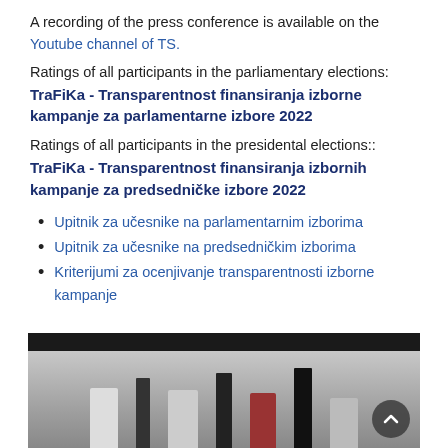A recording of the press conference is available on the Youtube channel of TS.
Ratings of all participants in the parliamentary elections:
TraFiKa - Transparentnost finansiranja izborne kampanje za parlamentarne izbore 2022
Ratings of all participants in the presidental elections::
TraFiKa - Transparentnost finansiranja izbornih kampanje za predsedničke izbore 2022
Upitnik za učesnike na parlamentarnim izborima
Upitnik za učesnike na predsedničkim izborima
Kriterijumi za ocenjivanje transparentnosti izborne kampanje
[Figure (photo): Press conference scene with journalists and camera operators in a room]